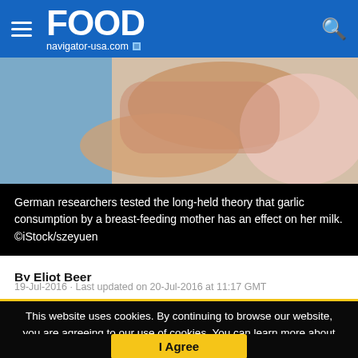FOOD navigator-usa.com
[Figure (photo): Close-up photo of a woman breastfeeding a baby, showing hands and infant in pink clothing]
German researchers tested the long-held theory that garlic consumption by a breast-feeding mother has an effect on her milk. ©iStock/szeyuen
By Eliot Beer
19-Jul-2016 · Last updated on 20-Jul-2016 at 11:17 GMT
This website uses cookies. By continuing to browse our website, you are agreeing to our use of cookies. You can learn more about cookies by visiting our privacy & cookies policy page.